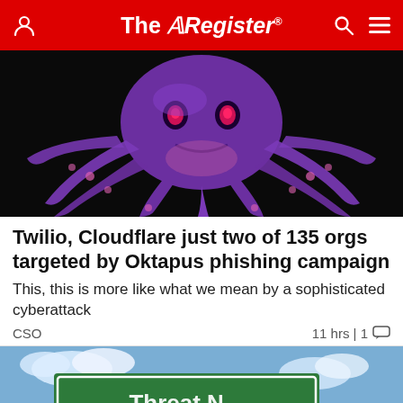The Register
[Figure (illustration): Purple cartoon octopus monster illustration on black background]
Twilio, Cloudflare just two of 135 orgs targeted by Oktapus phishing campaign
This, this is more like what we mean by a sophisticated cyberattack
CSO   11 hrs | 1 💬
[Figure (photo): Green road sign on blue sky background, partially visible]